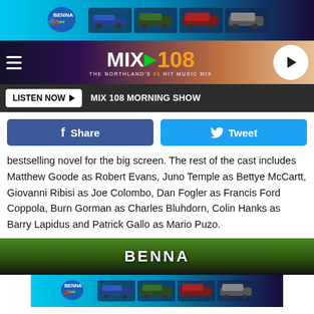[Figure (photo): Top banner advertisement for Benna Ford dealership showing multiple trucks on a cyan/blue background]
[Figure (logo): MIX 108 radio station logo — The Northland's #1 Hit Music Mix — with hamburger menu and play button]
LISTEN NOW ▶   MIX 108 MORNING SHOW
Share   Tweet
bestselling novel for the big screen. The rest of the cast includes Matthew Goode as Robert Evans, Juno Temple as Bettye McCartt, Giovanni Ribisi as Joe Colombo, Dan Fogler as Francis Ford Coppola, Burn Gorman as Charles Bluhdorn, Colin Hanks as Barry Lapidus and Patrick Gallo as Mario Puzo.
[Figure (photo): Partial image of Benna Ford advertisement showing trees and sky with Benna logo]
[Figure (photo): Bottom overlay advertisement for Benna Ford showing multiple trucks on cyan background]